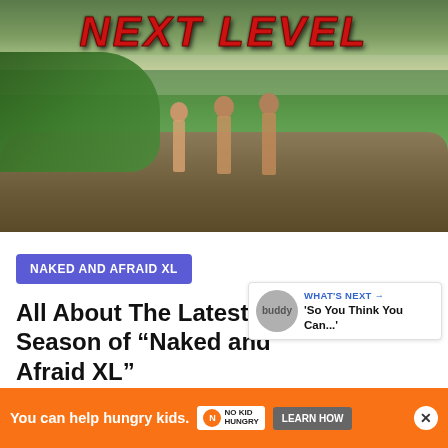[Figure (photo): TV show promotional image for Naked and Afraid XL showing three people standing on a rock overlooking a jungle landscape, with 'NEXT LEVEL' text in red at the top]
NAKED AND AFRAID XL
All About The Latest Season of “Naked and Afraid XL”
Aug 3, 2022  •  Buddy TV
WHAT'S NEXT → 'So You Think You Can...'
You can help hungry kids.  NO KID HUNGRY  LEARN HOW